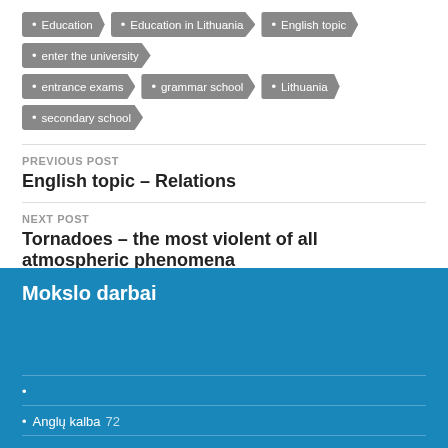Education
Education in Lithuania
English topic
enter the university
entrance exams
grammar school
Lithuania
secondary school
PREVIOUS POST
English topic – Relations
NEXT POST
Tornadoes – the most violent of all atmospheric phenomena
Mokslo darbai
Anglų kalba 72